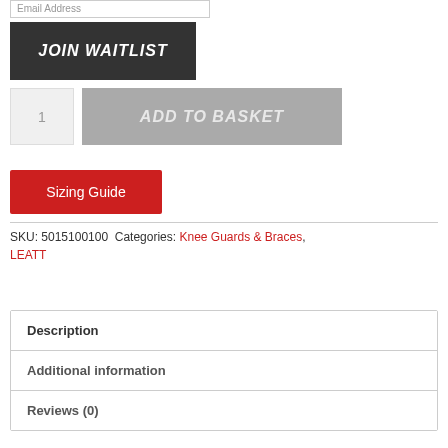Email Address
JOIN WAITLIST
1
ADD TO BASKET
Sizing Guide
SKU: 5015100100  Categories: Knee Guards & Braces, LEATT
Description
Additional information
Reviews (0)